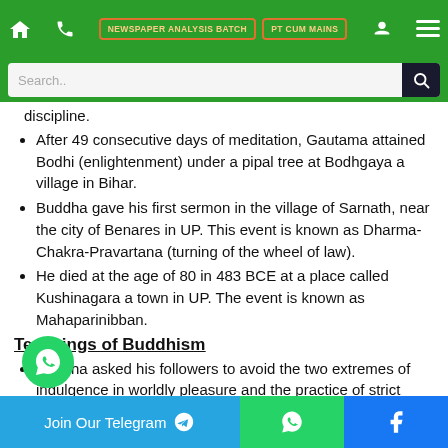NEWSPAPER ANALYSIS BATCH | PT CUM MAINS
discipline.
After 49 consecutive days of meditation, Gautama attained Bodhi (enlightenment) under a pipal tree at Bodhgaya a village in Bihar.
Buddha gave his first sermon in the village of Sarnath, near the city of Benares in UP. This event is known as Dharma-Chakra-Pravartana (turning of the wheel of law).
He died at the age of 80 in 483 BCE at a place called Kushinagara a town in UP. The event is known as Mahaparinibban.
Teachings of Buddhism
Buddha asked his followers to avoid the two extremes of indulgence in worldly pleasure and the practice of strict abstinence and asceticism.
Join Our Telegram